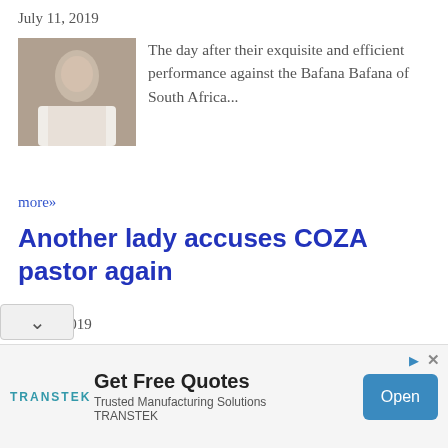July 11, 2019
[Figure (photo): Small thumbnail photo of a man in white shirt]
The day after their exquisite and efficient performance against the Bafana Bafana of South Africa...
more»
Another lady accuses COZA pastor again
July 4, 2019
[Figure (photo): Small thumbnail photo of a man in grey shirt with purple background]
Comments... more»
I don't understand what's
[Figure (infographic): Advertisement banner: TRANSTEK - Get Free Quotes, Trusted Manufacturing Solutions TRANSTEK, with Open button]